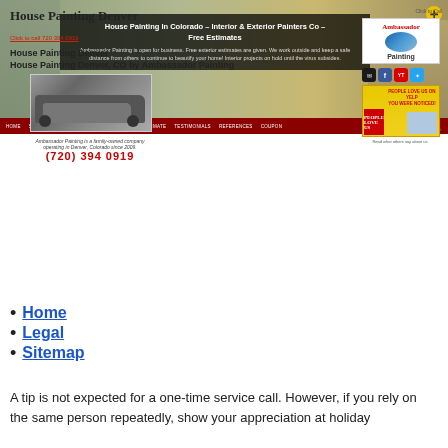[Figure (screenshot): Website header banner showing a house photo with dark overlay containing site title and description text]
HOME  SERVICES  CONTACT US  REQUEST FREE ESTIMATE  TESTIMONIALS  REFERENCES  COUPON
House Painting Denver
Click to call 720 394 0919
House Painting Denver
House Painting Denver, CO by Ambassador Painting
[Figure (photo): Photo of Ambassador Painting company car (SUV) with text below: Ambassador Painting is a family-owned company operating in Denver, Colorado since 2009. Phone number in red.]
[Figure (logo): Ambassador Painting logo with red text and blue mountain/oval graphic]
[Figure (screenshot): Social media icons row and Yelp people love us banner]
Read what others say about us
Home
Legal
Sitemap
A tip is not expected for a one-time service call. However, if you rely on the same person repeatedly, show your appreciation at holiday